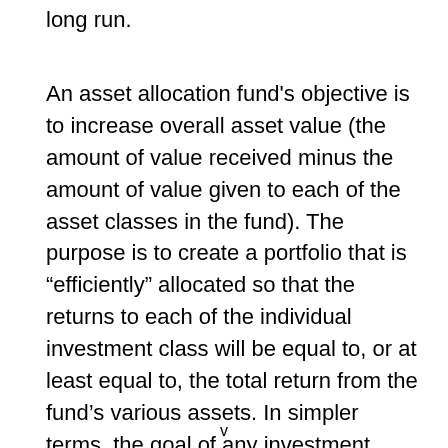long run.
An asset allocation fund's objective is to increase overall asset value (the amount of value received minus the amount of value given to each of the asset classes in the fund). The purpose is to create a portfolio that is “efficiently” allocated so that the returns to each of the individual investment class will be equal to, or at least equal to, the total return from the fund’s various assets. In simpler terms, the goal of any investment fund is to create a portfolio that is both economically and logically balanced. There are a
v